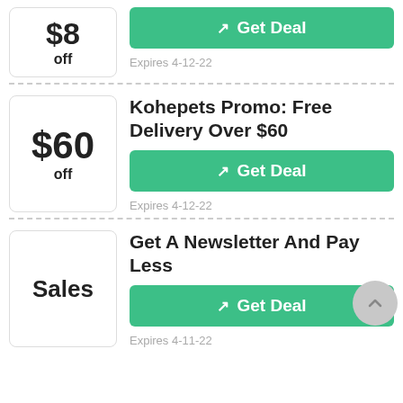[Figure (infographic): Coupon badge showing $8 off]
[Figure (infographic): Green Get Deal button]
Expires 4-12-22
[Figure (infographic): Coupon badge showing $60 off]
Kohepets Promo: Free Delivery Over $60
[Figure (infographic): Green Get Deal button]
Expires 4-12-22
[Figure (infographic): Coupon badge showing Sales]
Get A Newsletter And Pay Less
[Figure (infographic): Green Get Deal button]
Expires 4-11-22